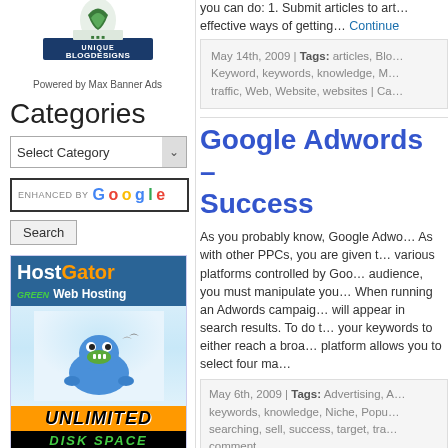[Figure (logo): Unique Blog Designs logo with blue/green leaf icon]
Powered by Max Banner Ads
Categories
Select Category (dropdown)
ENHANCED BY Google (search box)
Search (button)
[Figure (illustration): HostGator Web Hosting banner ad with green mascot, Unlimited Disk Space text]
you can do: 1. Submit articles to art… effective ways of getting… Continue
May 14th, 2009 | Tags: articles, Blo… Keyword, keywords, knowledge, M… traffic, Web, Website, websites | Ca…
Google Adwords – Success
As you probably know, Google Adwo… As with other PPCs, you are given t… various platforms controlled by Goo… audience, you must manipulate you… When running an Adwords campaig… will appear in search results. To do t… your keywords to either reach a broa… platform allows you to select four ma…
May 6th, 2009 | Tags: Advertising, A… keywords, knowledge, Niche, Popu… searching, sell, success, target, tra… comment